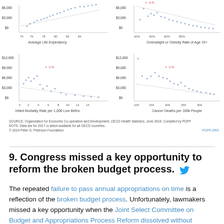[Figure (continuous-plot): Four scatter plots showing US healthcare spending vs health outcomes (life expectancy, overweight/obesity rate, infant mortality, cancer deaths) compared to OECD countries. US marked with red diamond at high spending ~$10,500. Blue dots are other OECD countries with trend lines.]
SOURCE: Organization for Economic Co-operation and Development, OECD Health Statistics, June 2018. Compiled by PGPF
NOTE: Data are for 2017 or latest available for all OECD countries.
© 2019 Peter G. Peterson Foundation
PGPF.ORG
9. Congress missed a key opportunity to reform the broken budget process.
The repeated failure to pass annual appropriations on time is a reflection of the broken budget process. Unfortunately, lawmakers missed a key opportunity when the Joint Select Committee on Budget and Appropriations Process Reform dissolved without reporting even modest recommendations.